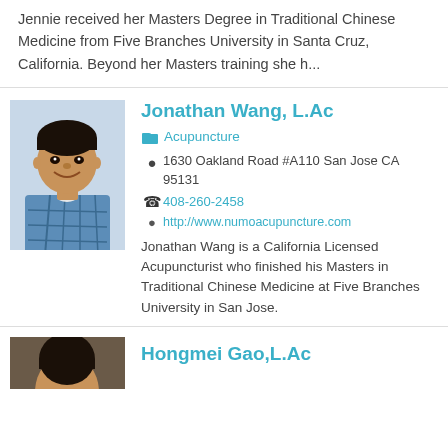Jennie received her Masters Degree in Traditional Chinese Medicine from Five Branches University in Santa Cruz, California. Beyond her Masters training she h...
Jonathan Wang, L.Ac
Acupuncture
1630 Oakland Road #A110 San Jose CA 95131
408-260-2458
http://www.numoacupuncture.com
Jonathan Wang is a California Licensed Acupuncturist who finished his Masters in Traditional Chinese Medicine at Five Branches University in San Jose.
Hongmei Gao,L.Ac